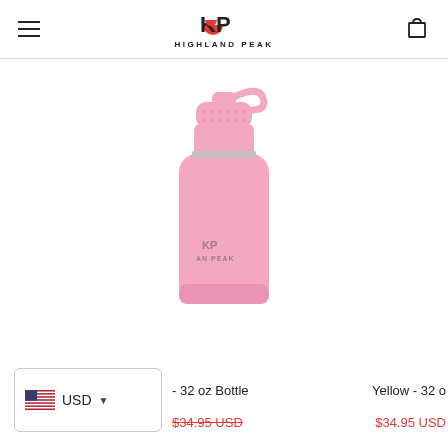HIGHLAND PEAK
[Figure (photo): A pink 32 oz Highland Peak insulated water bottle with a spout lid and carrying loop, photographed on a white background.]
- 32 oz Bottle
$34.95 USD
Yellow - 32 o
$34.95 USD
USD